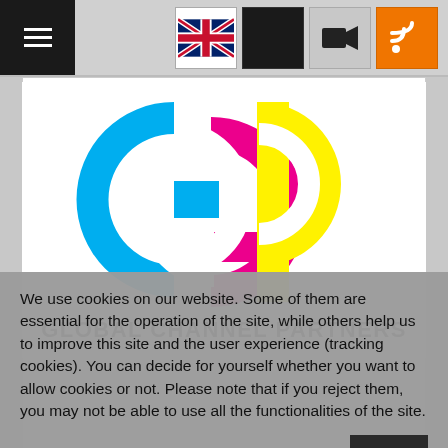[Figure (logo): Navigation bar with hamburger menu on left, and icons (UK flag, dark square, video camera, RSS/orange) on right]
[Figure (logo): Global Channel Partners logo: overlapping C, G, P letters in cyan, magenta, yellow. Text below reads GLOBAL CHANNEL PARTNERS in bold black.]
[Figure (illustration): Partial view of a second card below the logo card, showing a red circular shape at top left]
We use cookies on our website. Some of them are essential for the operation of the site, while others help us to improve this site and the user experience (tracking cookies). You can decide for yourself whether you want to allow cookies or not. Please note that if you reject them, you may not be able to use all the functionalities of the site.
OK
More information